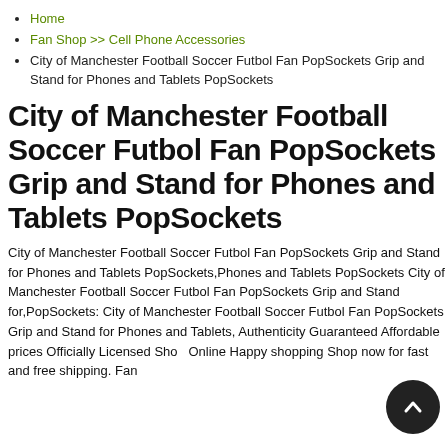Home
Fan Shop >> Cell Phone Accessories
City of Manchester Football Soccer Futbol Fan PopSockets Grip and Stand for Phones and Tablets PopSockets
City of Manchester Football Soccer Futbol Fan PopSockets Grip and Stand for Phones and Tablets PopSockets
City of Manchester Football Soccer Futbol Fan PopSockets Grip and Stand for Phones and Tablets PopSockets,Phones and Tablets PopSockets City of Manchester Football Soccer Futbol Fan PopSockets Grip and Stand for,PopSockets: City of Manchester Football Soccer Futbol Fan PopSockets Grip and Stand for Phones and Tablets, Authenticity Guaranteed Affordable prices Officially Licensed Shop Online Happy shopping Shop now for fast and free shipping. Fan